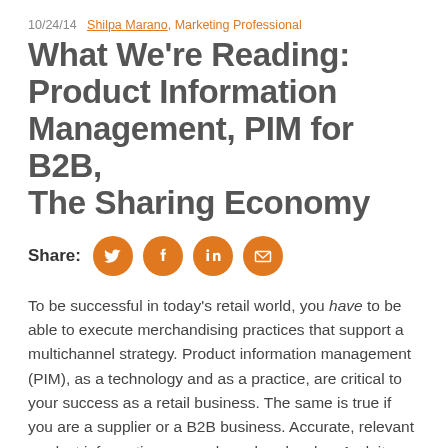10/24/14   Shilpa Marano, Marketing Professional
What We're Reading: Product Information Management, PIM for B2B, The Sharing Economy
[Figure (infographic): Share row with four orange circular social media icons: Twitter bird, Facebook f, LinkedIn in, and email envelope]
To be successful in today's retail world, you have to be able to execute merchandising practices that support a multichannel strategy. Product information management (PIM), as a technology and as a practice, are critical to your success as a retail business. The same is true if you are a supplier or a B2B business. Accurate, relevant product information can make or break sales. And, it keeps getting more complex to manage product information, as you have to proliferate your business